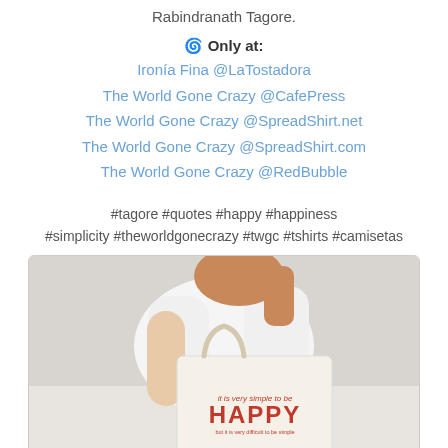Rabindranath Tagore.
🌀 Only at:
Ironía Fina @LaTostadora
The World Gone Crazy @CafePress
The World Gone Crazy @SpreadShirt.net
The World Gone Crazy @SpreadShirt.com
The World Gone Crazy @RedBubble
#tagore #quotes #happy #happiness #simplicity #theworldgonecrazy #twgc #tshirts #camisetas
[Figure (photo): A woman wearing a white t-shirt and holding a canvas tote bag over her shoulder with a 'HAPPY' text print on it in red letters.]